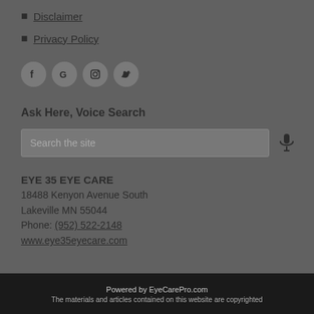Disclaimer
Privacy Policy
[Figure (other): Row of four social media icon circles: Facebook, Google, Instagram, Twitter]
Ask Here, Voice Search
Search the site [search box with microphone icon]
EYE 35 EYE CARE
18488 Kenyon Avenue South
Lakeville MN 55044
Phone: (952) 522-2148
www.eye35eyecare.com
Powered by EyeCarePro.com
The materials and articles contained on this website are copyrighted